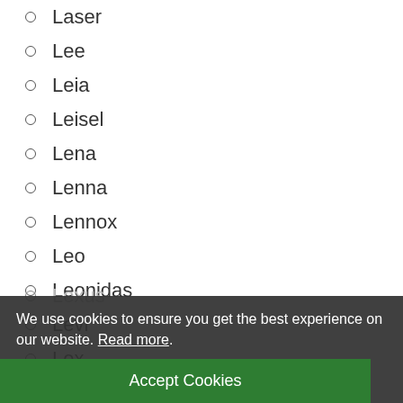Laser
Lee
Leia
Leisel
Lena
Lenna
Lennox
Leo
Leonidas
Levi
Lex
Lexus
We use cookies to ensure you get the best experience on our website. Read more.
Accept Cookies